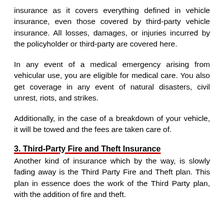insurance as it covers everything defined in vehicle insurance, even those covered by third-party vehicle insurance. All losses, damages, or injuries incurred by the policyholder or third-party are covered here.
In any event of a medical emergency arising from vehicular use, you are eligible for medical care. You also get coverage in any event of natural disasters, civil unrest, riots, and strikes.
Additionally, in the case of a breakdown of your vehicle, it will be towed and the fees are taken care of.
3. Third-Party Fire and Theft Insurance
Another kind of insurance which by the way, is slowly fading away is the Third Party Fire and Theft plan. This plan in essence does the work of the Third Party plan, with the addition of fire and theft.